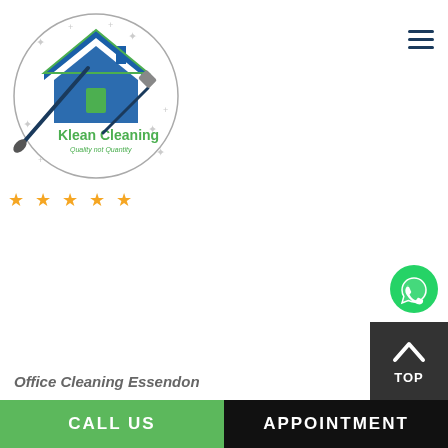[Figure (logo): Klean Cleaning logo with house icon, broom, and 'Quality not Quantity' tagline, five gold stars below]
[Figure (other): Hamburger menu icon (three horizontal lines) in dark navy blue]
[Figure (other): WhatsApp green phone icon button on the right side]
Office Cleaning Essendon
[Figure (other): TOP button - dark grey box with upward chevron arrow and 'TOP' text in white]
CALL US
APPOINTMENT